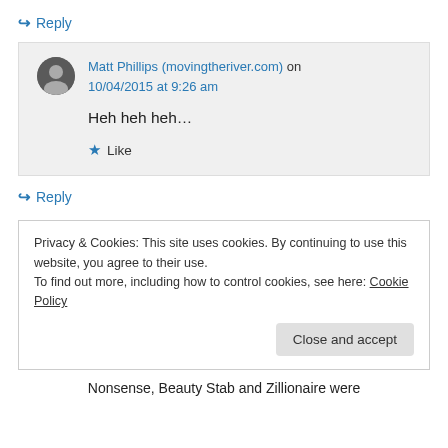↳ Reply
Matt Phillips (movingtheriver.com) on 10/04/2015 at 9:26 am
Heh heh heh…
★ Like
↳ Reply
Privacy & Cookies: This site uses cookies. By continuing to use this website, you agree to their use.
To find out more, including how to control cookies, see here: Cookie Policy
Close and accept
Nonsense, Beauty Stab and Zillionaire were